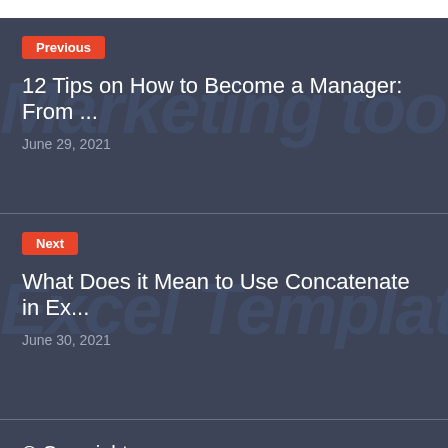Previous
12 Tips on How to Become a Manager: From ...
June 29, 2021
Next
What Does it Mean to Use Concatenate in Ex...
June 30, 2021
© Copyright
All contend is copyright by the directly related news source. We do not guarantee the accuracy of any of the external